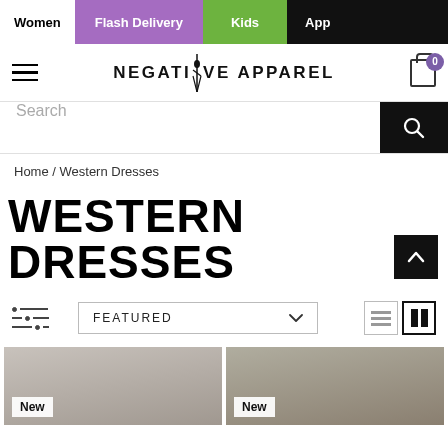Women | Flash Delivery | Kids | App
[Figure (logo): Negative Apparel logo with stylized figure]
Search
Home / Western Dresses
WESTERN DRESSES
FEATURED
[Figure (photo): Two product photos of western dresses with 'New' tags]